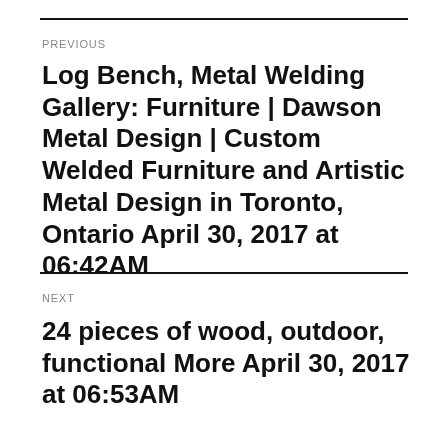PREVIOUS
Log Bench, Metal Welding Gallery: Furniture | Dawson Metal Design | Custom Welded Furniture and Artistic Metal Design in Toronto, Ontario April 30, 2017 at 06:42AM
NEXT
24 pieces of wood, outdoor, functional More April 30, 2017 at 06:53AM